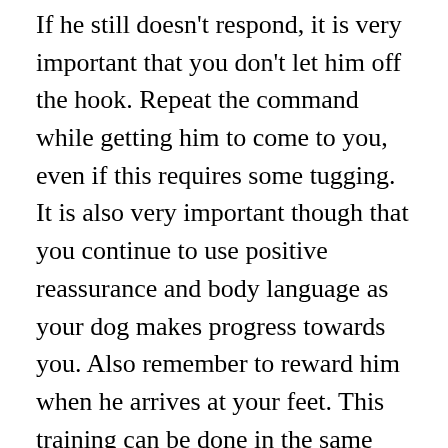If he still doesn't respond, it is very important that you don't let him off the hook. Repeat the command while getting him to come to you, even if this requires some tugging. It is also very important though that you continue to use positive reassurance and body language as your dog makes progress towards you. Also remember to reward him when he arrives at your feet. This training can be done in the same frequency as described in the first step. You should see rapid progress in the response of your dog to your command, and gradually taper the reward giving as your dog gets better and better at responding. When your dog is fully trained in this command, he will obey the sound of your command no matter what and you can abandon giving him positive